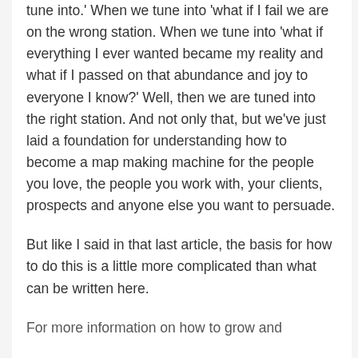tune into.' When we tune into 'what if I fail we are on the wrong station. When we tune into 'what if everything I ever wanted became my reality and what if I passed on that abundance and joy to everyone I know?' Well, then we are tuned into the right station. And not only that, but we've just laid a foundation for understanding how to become a map making machine for the people you love, the people you work with, your clients, prospects and anyone else you want to persuade.
But like I said in that last article, the basis for how to do this is a little more complicated than what can be written here.
For more information on how to grow and